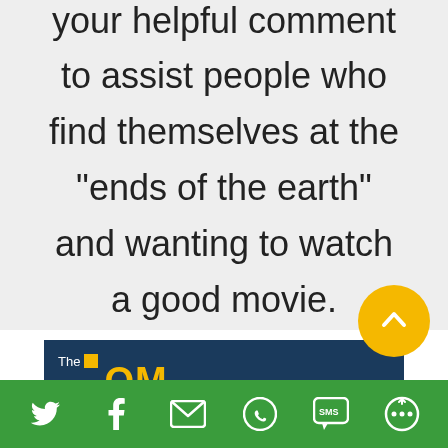your helpful comment to assist people who find themselves at the "ends of the earth" and wanting to watch a good movie.
[Figure (screenshot): Partial thumbnail of a movie/show title card on a dark blue background showing 'The' with a yellow square and yellow text beginning 'OM']
[Figure (infographic): Green social share bar with icons for Twitter, Facebook, Email, WhatsApp, SMS, and another sharing option]